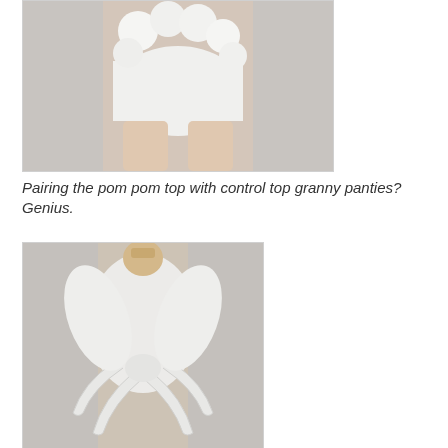[Figure (photo): Fashion photo showing a model from waist down wearing white control top granny panties and a pom pom top with white fluffy/furry ball decorations, against a grey background.]
Pairing the pom pom top with control top granny panties? Genius.
[Figure (photo): Fashion photo showing a model wearing an elaborate white sculptural knit/textile garment with rope-like tentacles or a bow structure draped over her body, against a grey background.]